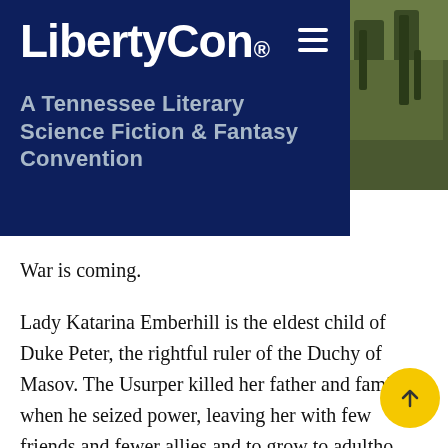LibertyCon® — A Tennessee Literary Science Fiction & Fantasy Convention
[Figure (photo): Nature/outdoor photograph partially visible on the right side of the header banner]
War is coming.
Lady Katarina Emberhill is the eldest child of Duke Peter, the rightful ruler of the Duchy of Masov. The Usurper killed her father and family when he seized power, leaving her with few friends and fewer allies and to grow to adulthood in exile. She returns to her homeland and make things right emboldened by an